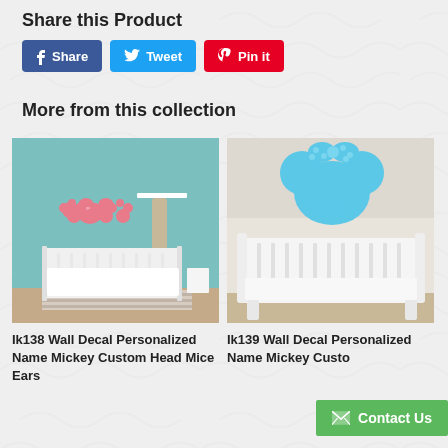Share this Product
f Share   Tweet   Pin it
More from this collection
[Figure (photo): Baby nursery room with white crib and pink Mickey Mouse wall decal on teal wall]
[Figure (photo): White baby crib with blue Minnie Mouse head and 'Emma' name wall decal on light wall]
Ik138 Wall Decal Personalized Name Mickey Custom Head Mice Ears
Ik139 Wall Decal Personalized Name Mickey Custo...
Contact Us